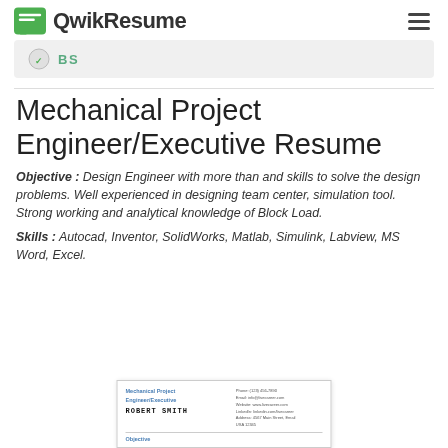QwikResume
[Figure (screenshot): Partial gray card/banner with BS label visible]
Mechanical Project Engineer/Executive Resume
Objective : Design Engineer with more than and skills to solve the design problems. Well experienced in designing team center, simulation tool. Strong working and analytical knowledge of Block Load.
Skills : Autocad, Inventor, SolidWorks, Matlab, Simulink, Labview, MS Word, Excel.
[Figure (screenshot): Thumbnail preview of the Mechanical Project Engineer/Executive resume for Robert Smith showing header, contact info, and beginning of Objective section]